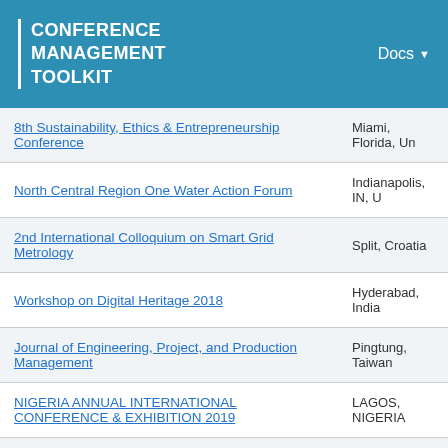CONFERENCE MANAGEMENT TOOLKIT | Docs
| Conference Name | Location |
| --- | --- |
| 8th Sustainability, Ethics & Entrepreneurship Conference | Miami, Florida, Un |
| North Central Region One Water Action Forum | Indianapolis, IN, U |
| 2nd International Colloquium on Smart Grid Metrology | Split, Croatia |
| Workshop on Digital Heritage 2018 | Hyderabad, India |
| Journal of Engineering, Project, and Production Management | Pingtung, Taiwan |
| NIGERIA ANNUAL INTERNATIONAL CONFERENCE & EXHIBITION 2019 | LAGOS, NIGERIA |
| Machine Learning for Spatiotemporal Forecasting | Fraunhofer, Germa |